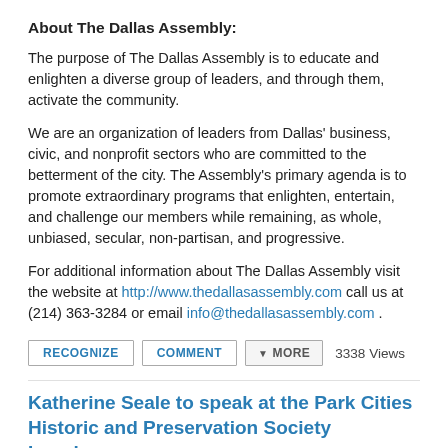About The Dallas Assembly:
The purpose of The Dallas Assembly is to educate and enlighten a diverse group of leaders, and through them, activate the community.
We are an organization of leaders from Dallas' business, civic, and nonprofit sectors who are committed to the betterment of the city. The Assembly's primary agenda is to promote extraordinary programs that enlighten, entertain, and challenge our members while remaining, as whole, unbiased, secular, non-partisan, and progressive.
For additional information about The Dallas Assembly visit the website at http://www.thedallasassembly.com call us at (214) 363-3284 or email info@thedallasassembly.com .
[Figure (other): Row of buttons: RECOGNIZE, COMMENT, MORE, and 3338 Views text]
Katherine Seale to speak at the Park Cities Historic and Preservation Society Luncheon